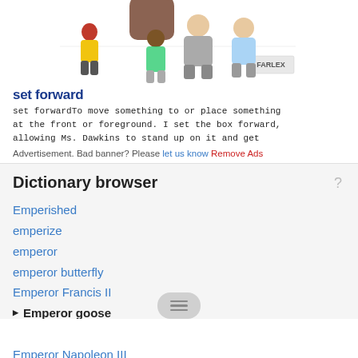[Figure (illustration): Illustration of a group of people with a Farlex logo, partially overlapped by a hand/finger at top. Shows cartoon figures of people including one in yellow, one in teal, and others in the background.]
set forward
set forwardTo move something to or place something at the front or foreground. I set the box forward, allowing Ms. Dawkins to stand up on it and get
Advertisement. Bad banner? Please let us know Remove Ads
Dictionary browser
Emperished
emperize
emperor
emperor butterfly
Emperor Francis II
Emperor goose
emperor moth
Emperor Napoleon III